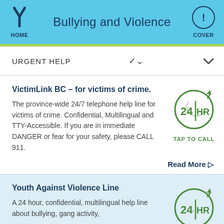HOME | Bullying and Violence | COVER
URGENT HELP
VictimLink BC – for victims of crime.
The province-wide 24/7 telephone help line for victims of crime. Confidential, Multilingual and TTY-Accessible. If you are in immediate DANGER or fear for your safety, please CALL 911.
Read More ▷
Youth Against Violence Line
A 24 hour, confidential, multilingual help line about bullying, gang activity,